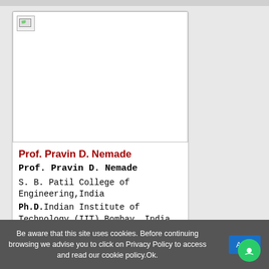[Figure (photo): Profile photo placeholder (broken image) for Prof. Pravin D. Nemade]
Prof. Pravin D. Nemade
Prof. Pravin D. Nemade
S. B. Patil College of Engineering,India
Ph.D.Indian Institute of Technology (IIT) Bombay, India
M.Tech  Civil Engineering, Indian Institute of Technology(IIT), Kharagpur
Be aware that this site uses cookies. Before continuing browsing we advise you to click on Privacy Policy to access and read our cookie policy.Ok.